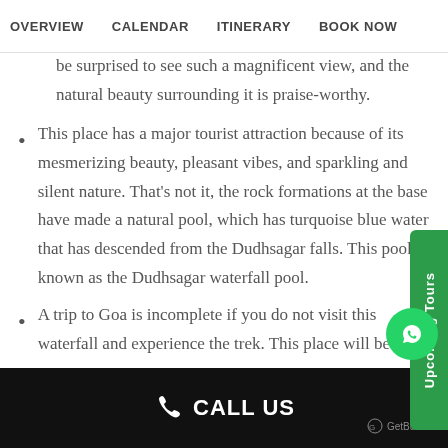OVERVIEW  CALENDAR  ITINERARY  BOOK NOW
be surprised to see such a magnificent view, and the natural beauty surrounding it is praise-worthy.
This place has a major tourist attraction because of its mesmerizing beauty, pleasant vibes, and sparkling and silent nature. That's not it, the rock formations at the base have made a natural pool, which has turquoise blue water that has descended from the Dudhsagar falls. This pool is known as the Dudhsagar waterfall pool.
A trip to Goa is incomplete if you do not visit this waterfall and experience the trek. This place will be a
CALL US